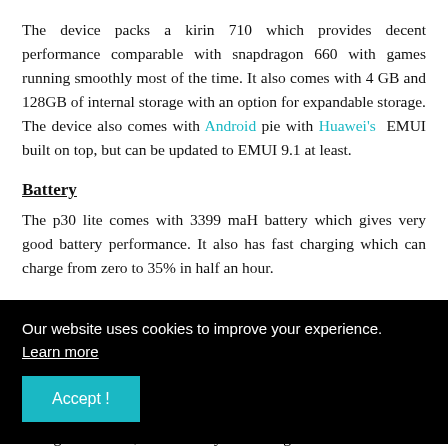The device packs a kirin 710 which provides decent performance comparable with snapdragon 660 with games running smoothly most of the time. It also comes with 4 GB and 128GB of internal storage with an option for expandable storage. The device also comes with Android pie with Huawei's EMUI built on top, but can be updated to EMUI 9.1 at least.
Battery
The p30 lite comes with 3399 maH battery which gives very good battery performance. It also has fast charging which can charge from zero to 35% in half an hour.
Our website uses cookies to improve your experience. Learn more
depth sensor for portrait mode. Pictures look great in good light with good colours, detail and dynamic range. No